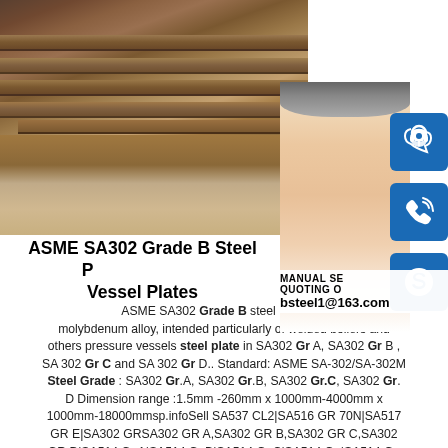[Figure (photo): Stack of steel plates stored outdoors, reddish-brown rust color, industrial setting]
[Figure (photo): Customer service representative woman smiling with headset, with three blue icon buttons (chat, phone, Skype) overlaid on the right]
ASME SA302 Grade B Steel Plate/Pressure Vessel Plates
ASME SA302 Grade B steel plate grade is a manganese molybdenum alloy, intended particularly of welded boilers and others pressure vessels steel plate in SA302 Gr A, SA302 Gr B , SA 302 Gr C and SA 302 Gr D.. Standard: ASME SA-302/SA-302M Steel Grade : SA302 Gr.A, SA302 Gr.B, SA302 Gr.C, SA302 Gr. D Dimension range :1.5mm -260mm x 1000mm-4000mm x 1000mm-18000mmsp.infoSell SA537 CL2|SA516 GR 70N|SA517 GR E|SA302 GRSA302 GR A,SA302 GR B,SA302 GR C,SA302 GR D|SA514 Gr.A|SA514 Gr.B|SA514 Gr.C|SA514 Gr.|SA514 Gr.